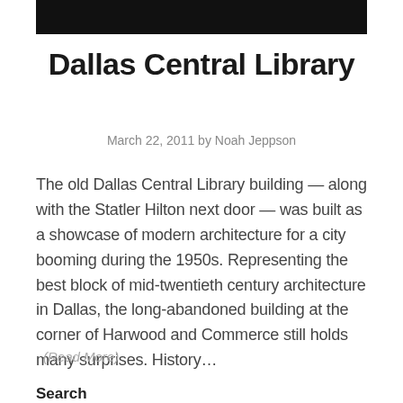[Figure (photo): Dark/black photo bar at top of page]
Dallas Central Library
March 22, 2011 by Noah Jeppson
The old Dallas Central Library building — along with the Statler Hilton next door — was built as a showcase of modern architecture for a city booming during the 1950s. Representing the best block of mid-twentieth century architecture in Dallas, the long-abandoned building at the corner of Harwood and Commerce still holds many surprises. History…
(Read More)
Search